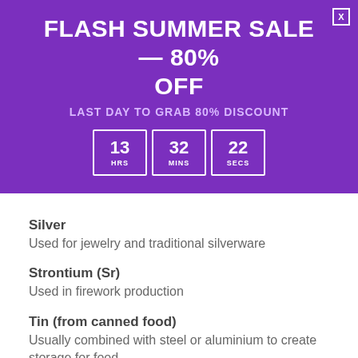FLASH SUMMER SALE — 80% OFF
LAST DAY TO GRAB 80% DISCOUNT
[Figure (infographic): Countdown timer showing 13 HRS, 32 MINS, 22 SECS in white-bordered boxes on purple background]
Silver
Used for jewelry and traditional silverware
Strontium (Sr)
Used in firework production
Tin (from canned food)
Usually combined with steel or aluminium to create storage for food
Zinc